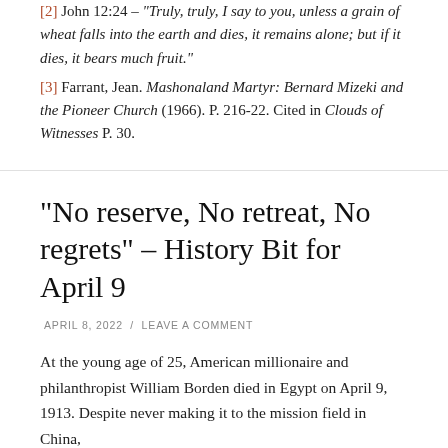[2] John 12:24 – "Truly, truly, I say to you, unless a grain of wheat falls into the earth and dies, it remains alone; but if it dies, it bears much fruit."
[3] Farrant, Jean. Mashonaland Martyr: Bernard Mizeki and the Pioneer Church (1966). P. 216-22. Cited in Clouds of Witnesses P. 30.
“No reserve, No retreat, No regrets” – History Bit for April 9
APRIL 8, 2022 / LEAVE A COMMENT
At the young age of 25, American millionaire and philanthropist William Borden died in Egypt on April 9, 1913. Despite never making it to the mission field in China,